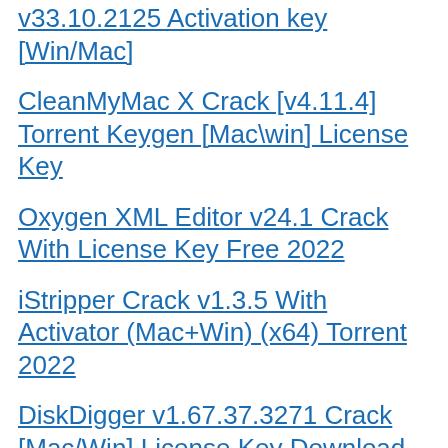v33.10.2125 Activation key [Win/Mac]
CleanMyMac X Crack [v4.11.4] Torrent Keygen [Mac\win] License Key
Oxygen XML Editor v24.1 Crack With License Key Free 2022
iStripper Crack v1.3.5 With Activator (Mac+Win) (x64) Torrent 2022
DiskDigger v1.67.37.3271 Crack [Mac/Win] License Key Download 2023
Mortal Kombat 11 Torrent Crack+ Patch Full PC Game Crackhub.Org